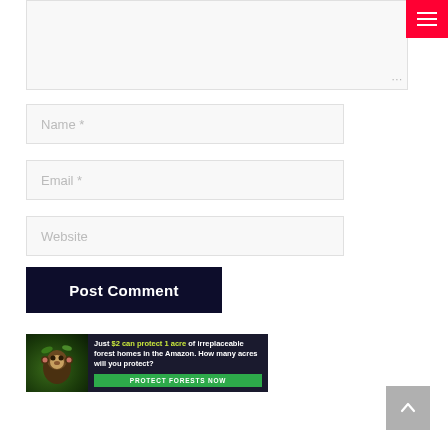[Figure (screenshot): Comment form textarea box (empty, resizable)]
Name *
Email *
Website
Post Comment
[Figure (infographic): Amazon forest protection ad banner: 'Just $2 can protect 1 acre of irreplaceable forest homes in the Amazon. How many acres will you protect?' with a PROTECT FORESTS NOW button and monkey/forest imagery]